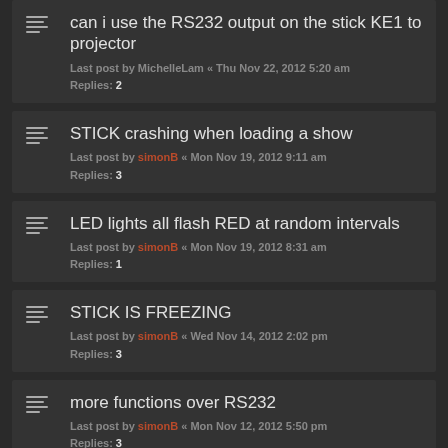can i use the RS232 output on the stick KE1 to projector
Last post by MichelleLam « Thu Nov 22, 2012 5:20 am
Replies: 2
STICK crashing when loading a show
Last post by simonB « Mon Nov 19, 2012 9:11 am
Replies: 3
LED lights all flash RED at random intervals
Last post by simonB « Mon Nov 19, 2012 8:31 am
Replies: 1
STICK IS FREEZING
Last post by simonB « Wed Nov 14, 2012 2:02 pm
Replies: 3
more functions over RS232
Last post by simonB « Mon Nov 12, 2012 5:50 pm
Replies: 3